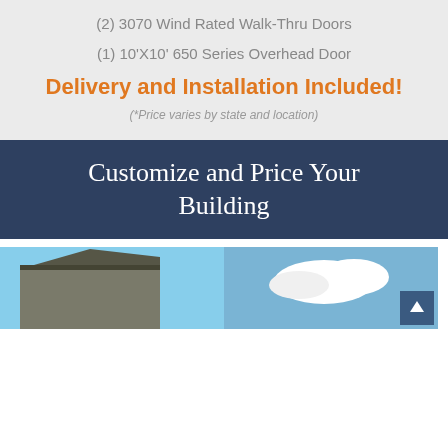(2) 3070 Wind Rated Walk-Thru Doors
(1) 10'X10' 650 Series Overhead Door
Delivery and Installation Included!
(*Price varies by state and location)
Customize and Price Your Building
[Figure (photo): Two photos of metal buildings side by side, left shows corner of steel building against blue sky, right shows building with clouds in background. Scroll-to-top button visible bottom right.]